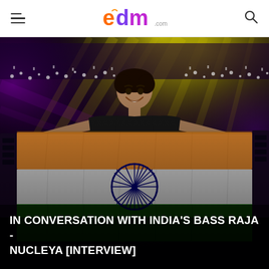EDM.com
[Figure (photo): A man holding an Indian tricolor flag on a concert stage with dramatic lighting, yellow stage lights, and a large crowd in the background.]
IN CONVERSATION WITH INDIA'S BASS RAJA - NUCLEYA [INTERVIEW]